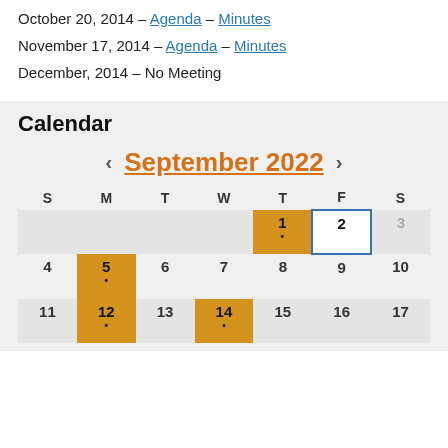October 20, 2014 – Agenda – Minutes
November 17, 2014 – Agenda – Minutes
December, 2014 – No Meeting
Calendar
[Figure (other): September 2022 calendar widget showing highlighted dates: 1 (orange/gold), 2 (blue, today), 5 (orange/gold), 8 not highlighted, 12 (orange/gold), 14 (orange/gold). Bullet dots below 1, 5, 12, 14.]